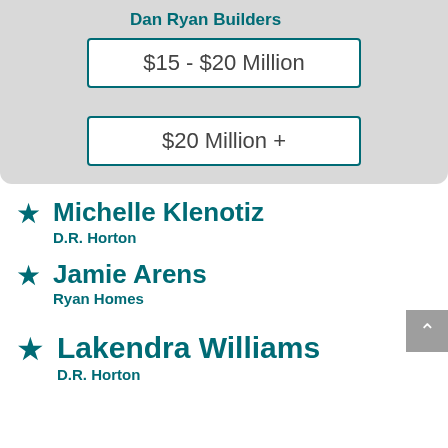Dan Ryan Builders
$15 - $20 Million
$20 Million +
Michelle Klenotiz
D.R. Horton
Jamie Arens
Ryan Homes
Lakendra Williams
D.R. Horton